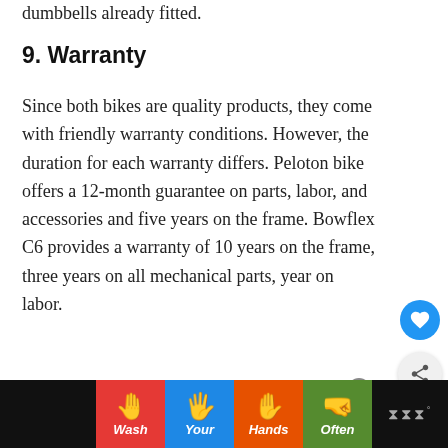dumbbells already fitted.
9. Warranty
Since both bikes are quality products, they come with friendly warranty conditions. However, the duration for each warranty differs. Peloton bike offers a 12-month guarantee on parts, labor, and accessories and five years on the frame. Bowflex C6 provides a warranty of 10 years on the frame, three years on all mechanical parts, year on labor.
[Figure (screenshot): Advertisement banner at the bottom showing 'Wash Your Hands Often' with hand washing icons on colored segments (red, blue, orange, green)]